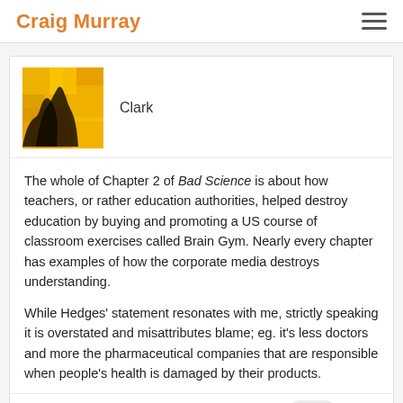Craig Murray
Clark
The whole of Chapter 2 of Bad Science is about how teachers, or rather education authorities, helped destroy education by buying and promoting a US course of classroom exercises called Brain Gym. Nearly every chapter has examples of how the corporate media destroys understanding.

While Hedges' statement resonates with me, strictly speaking it is overstated and misattributes blame; eg. it's less doctors and more the pharmaceutical companies that are responsible when people's health is damaged by their products.
September 15, 2019 at 11:35 REPLY #47171